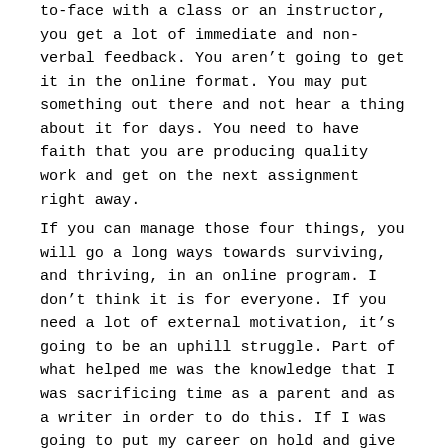to-face with a class or an instructor, you get a lot of immediate and non-verbal feedback. You aren't going to get it in the online format. You may put something out there and not hear a thing about it for days. You need to have faith that you are producing quality work and get on the next assignment right away.
If you can manage those four things, you will go a long ways towards surviving, and thriving, in an online program. I don't think it is for everyone. If you need a lot of external motivation, it's going to be an uphill struggle. Part of what helped me was the knowledge that I was sacrificing time as a parent and as a writer in order to do this. If I was going to put my career on hold and give up my already scarce time with my child, I was going to be the best darn it... position the...